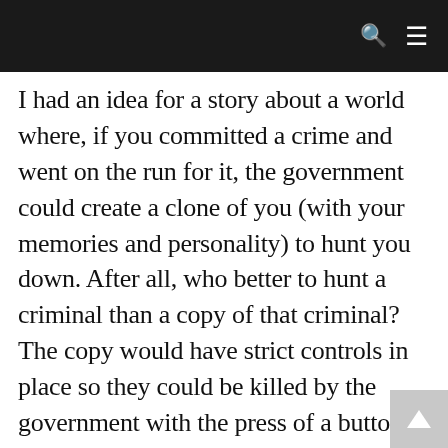🔍 ☰
I had an idea for a story about a world where, if you committed a crime and went on the run for it, the government could create a clone of you (with your memories and personality) to hunt you down. After all, who better to hunt a criminal than a copy of that criminal? The copy would have strict controls in place so they could be killed by the government with the press of a button, but would be given the promise that they could take their Original's place if they succeeded in hunting them down and killing them.